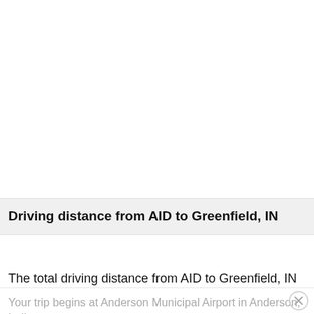[Figure (map): Map area showing driving route from AID to Greenfield, IN — appears blank/white in this view]
Driving distance from AID to Greenfield, IN
The total driving distance from AID to Greenfield, IN is 28 miles or 45 kilometers.
Your trip begins at Anderson Municipal Airport in Anderson, Indiana.